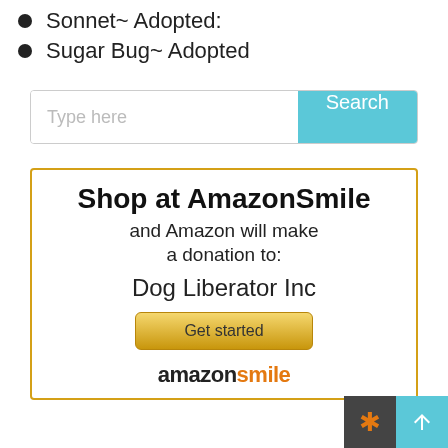Sonnet~ Adopted:
Sugar Bug~ Adopted
[Figure (screenshot): Search bar with 'Type here' placeholder text and a cyan 'Search' button]
[Figure (infographic): AmazonSmile promotional box with yellow border. Text: 'Shop at AmazonSmile and Amazon will make a donation to: Dog Liberator Inc'. Yellow gradient 'Get started' button. Partial 'amazonsmile' logo at bottom.]